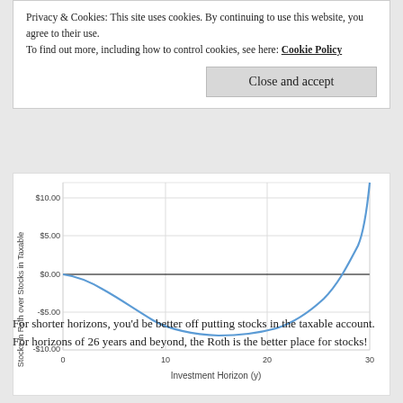Privacy & Cookies: This site uses cookies. By continuing to use this website, you agree to their use.
To find out more, including how to control cookies, see here: Cookie Policy
[Figure (continuous-plot): A U-shaped curve showing the value of Stocks in Roth over Stocks in Taxable (y-axis, $-10 to $10+) versus Investment Horizon in years (x-axis, 0 to 30). The curve starts near $0 at year 0, dips to a minimum around -$8 near year 20, then rises sharply to above $10 by year 30.]
For shorter horizons, you'd be better off putting stocks in the taxable account. For horizons of 26 years and beyond, the Roth is the better place for stocks!